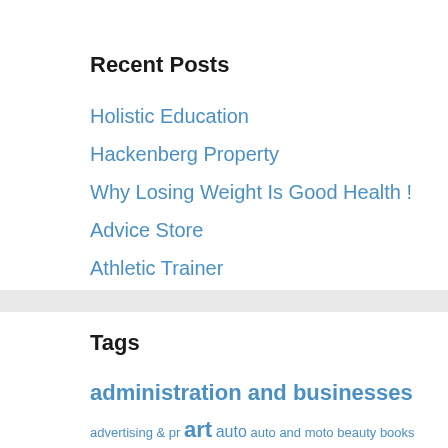Recent Posts
Holistic Education
Hackenberg Property
Why Losing Weight Is Good Health !
Advice Store
Athletic Trainer
Tags
administration and businesses advertising & pr art auto auto and moto beauty books & magazines